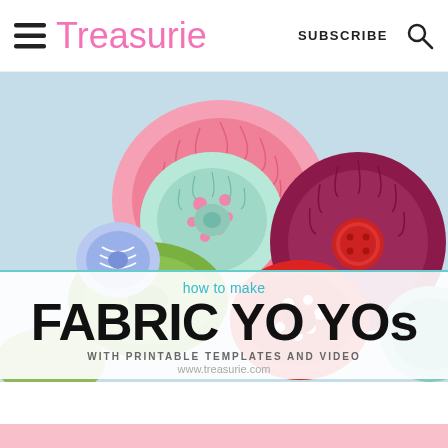Treasurie  SUBSCRIBE
[Figure (photo): Photo of colorful fabric yo-yos in pink, magenta, green, red polka dot, blue, and teal colors arranged on a light blue background. Some have buttons or gathered centers. Overlaid with a white semi-transparent box containing the article title.]
how to make FABRIC YO YOs
WITH PRINTABLE TEMPLATES AND VIDEO
www.treasurie.com